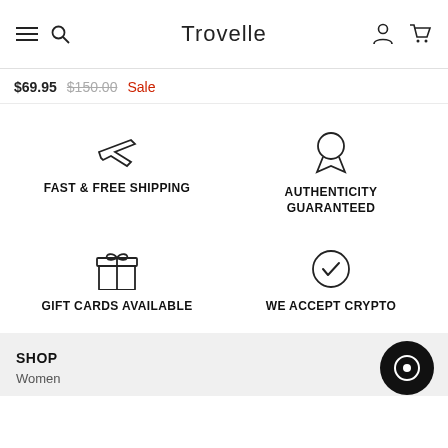Trovelle
$69.95  $150.00  Sale
[Figure (infographic): Four feature icons in a 2x2 grid: airplane icon with FAST & FREE SHIPPING, ribbon/medal icon with AUTHENTICITY GUARANTEED, gift box icon with GIFT CARDS AVAILABLE, checkmark circle icon with WE ACCEPT CRYPTO]
SHOP
Women